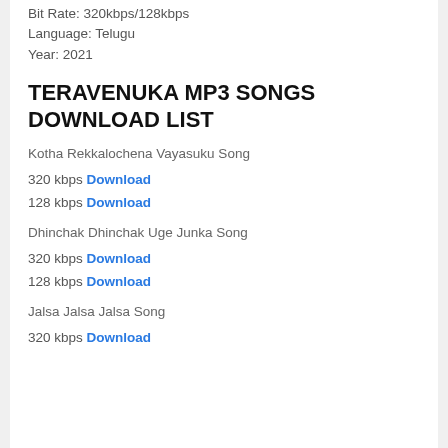Bit Rate: 320kbps/128kbps
Language: Telugu
Year: 2021
TERAVENUKA MP3 SONGS DOWNLOAD LIST
Kotha Rekkalochena Vayasuku Song
320 kbps Download
128 kbps Download
Dhinchak Dhinchak Uge Junka Song
320 kbps Download
128 kbps Download
Jalsa Jalsa Jalsa Song
320 kbps Download